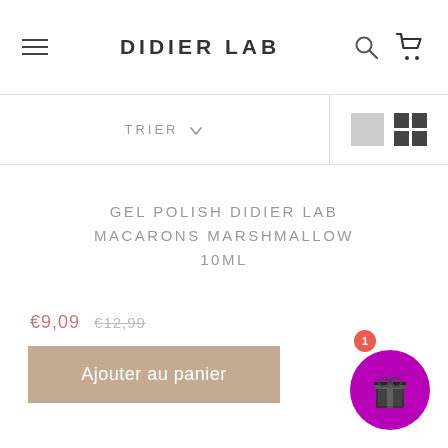DIDIER LAB
TRIER
GEL POLISH DIDIER LAB MACARONS MARSHMALLOW 10ML
€9,09  €12,99
Ajouter au panier